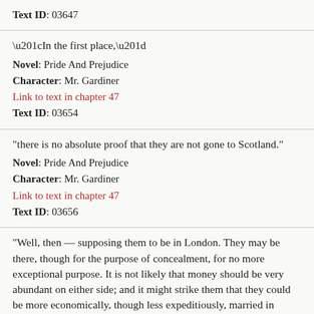Text ID: 03647
“In the first place,”
Novel: Pride And Prejudice
Character: Mr. Gardiner
Link to text in chapter 47
Text ID: 03654
“there is no absolute proof that they are not gone to Scotland.”
Novel: Pride And Prejudice
Character: Mr. Gardiner
Link to text in chapter 47
Text ID: 03656
“Well, then — supposing them to be in London. They may be there, though for the purpose of concealment, for no more exceptional purpose. It is not likely that money should be very abundant on either side; and it might strike them that they could be more economically, though less expeditiously, married in London than in Scotland.”
Novel: Pride And Prejudice